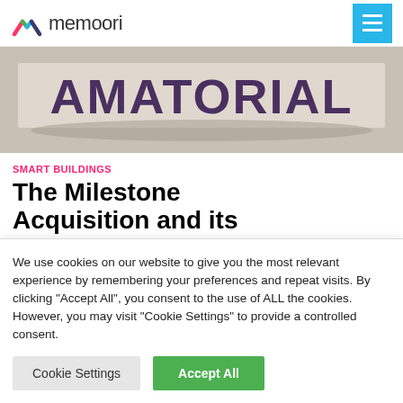memoori
[Figure (photo): Grayscale photo of a stamped or printed label reading 'AMATORIAL' in large bold purple block letters on a light background]
SMART BUILDINGS
The Milestone Acquisition and its
We use cookies on our website to give you the most relevant experience by remembering your preferences and repeat visits. By clicking "Accept All", you consent to the use of ALL the cookies. However, you may visit "Cookie Settings" to provide a controlled consent.
Cookie Settings | Accept All